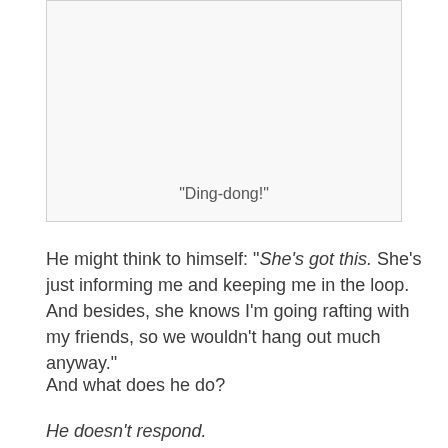[Figure (other): A framed image/panel box with the text "Ding-dong!" displayed near the bottom center, representing a doorbell sound effect in a story illustration.]
He might think to himself: "She's got this. She's just informing me and keeping me in the loop. And besides, she knows I'm going rafting with my friends, so we wouldn't hang out much anyway."
And what does he do?
He doesn't respond.